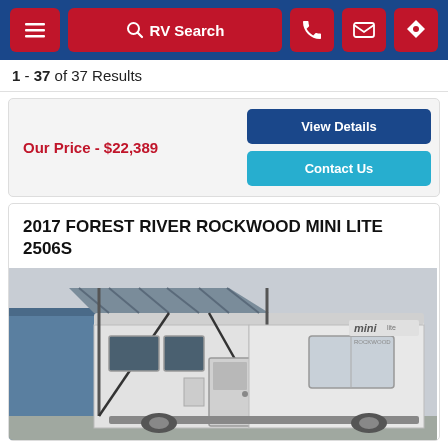RV Search navigation bar with menu, RV Search, phone, email, and location buttons
1 - 37 of 37 Results
Our Price - $22,389
View Details
Contact Us
2017 FOREST RIVER ROCKWOOD MINI LITE 2506S
[Figure (photo): Photo of a white 2017 Forest River Rockwood Mini Lite 2506S travel trailer RV with awning extended, showing the exterior side with windows, door, and mini logo on the side.]